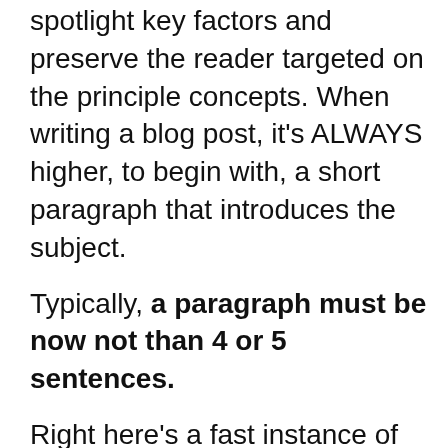spotlight key factors and preserve the reader targeted on the principle concepts. When writing a blog post, it's ALWAYS higher, to begin with, a short paragraph that introduces the subject.
Typically, a paragraph must be now not than 4 or 5 sentences.
Right here's a fast instance of utilizing brief paragraphs;
Do We Recommend The Semrush SEO Tool?
Totally Indeed, We Suggest Semrush.
In Case You're Going Through This Nitty-Gritty Survey, You May As Of Now Have Experienced Passionate Feelings For Semrush. It's Ideal For Individuals Who Need To Pulverize Their Rivals And Rule Google SERPs.